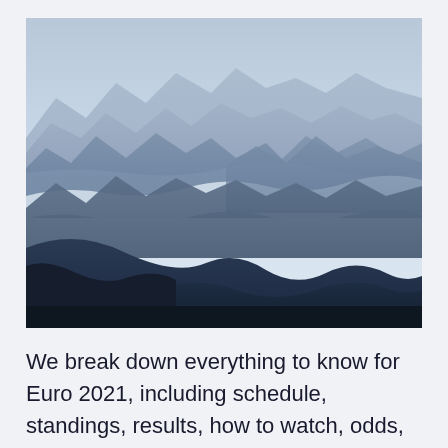[Figure (photo): Aerial landscape photograph of layered mountain ranges in shades of blue and dark blue, with misty fog filling the valleys between the ridgelines. The sky is pale blue-grey at the top. The foreground shows dark navy silhouetted hills.]
We break down everything to know for Euro 2021, including schedule, standings, results, how to watch, odds, and plenty more. Hungary: 0-0 EURO 2020: How